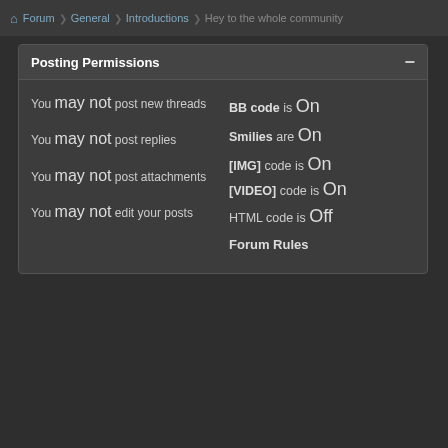Forum ❯ General ❯ Introductions ❯ Hey to the whole community
Posting Permissions
You may not post new threads
You may not post replies
You may not post attachments
You may not edit your posts
BB code is On
Smilies are On
[IMG] code is On
[VIDEO] code is On
HTML code is Off
Forum Rules
[Figure (logo): Cloudflare Accelerated & Protected badge]
Contact Us  IBIS G
All times are GMT -5. The time now is 08:46
Powered by vBulletin® Version 4.2.5  Copyright © 2022 vBulletin Solutions Inc. All rights reserved.  Image resizer by SevenSkins
Forum Modifications Developed By Marco Ma  Designed By vBInspired.com